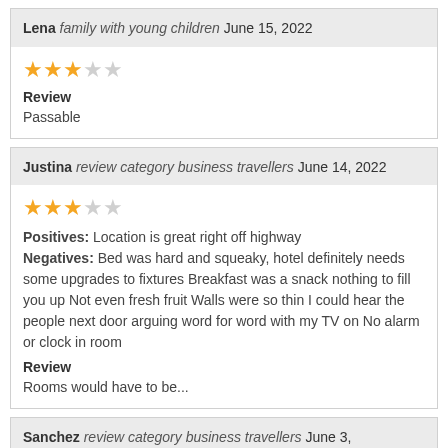Lena family with young children June 15, 2022
Review
Passable
Justina review category business travellers June 14, 2022
Positives: Location is great right off highway
Negatives: Bed was hard and squeaky, hotel definitely needs some upgrades to fixtures Breakfast was a snack nothing to fill you up Not even fresh fruit Walls were so thin I could hear the people next door arguing word for word with my TV on No alarm or clock in room
Review
Rooms would have to be...
Sanchez review category business travellers June 3, 2022